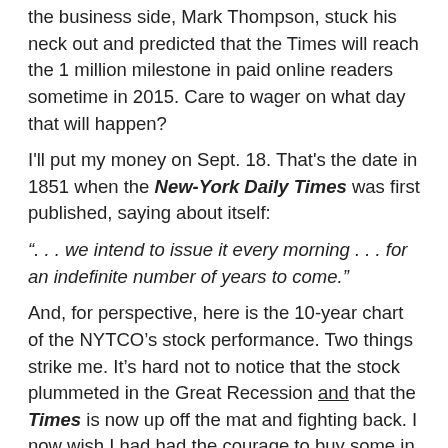the business side, Mark Thompson, stuck his neck out and predicted that the Times will reach the 1 million milestone in paid online readers sometime in 2015. Care to wager on what day that will happen?
I'll put my money on Sept. 18. That's the date in 1851 when the New-York Daily Times was first published, saying about itself:
“. . . we intend to issue it every morning . . . for an indefinite number of years to come.”
And, for perspective, here is the 10-year chart of the NYTCO’s stock performance. Two things strike me. It’s hard not to notice that the stock plummeted in the Great Recession and that the Times is now up off the mat and fighting back. I now wish I had had the courage to buy some in 2009 — I could have doubled my money!